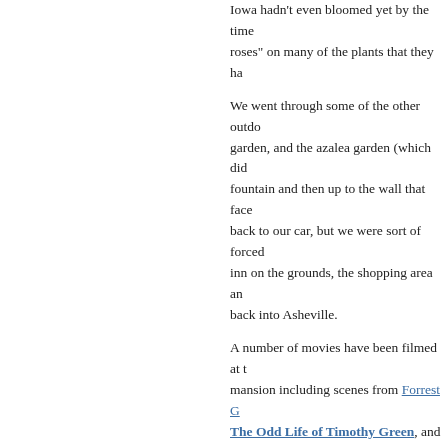Iowa hadn't even bloomed yet by the time… roses" on many of the plants that they ha…
We went through some of the other outdo… garden, and the azalea garden (which did… fountain and then up to the wall that face… back to our car, but we were sort of force… inn on the grounds, the shopping area a… back into Asheville.
A number of movies have been filmed at t… mansion including scenes from Forrest G… The Odd Life of Timothy Green, and on… favorite films - the very underrated, but cr… acclaimed Being There that starred Pete… role in a full-featured movie. I suppose Bi… enough to visit, but we were much more i… grounds, gardens and conservatory than … mansion. We felt it was a little expensive … even with the $20 per person reduction in… tickets online more than seven days of the… have skipped the tour through the mansio… to the gardens, we probably would have li… It took us about 3 hours to see what we s… Estate. But, we also found that the crowd… the afternoon. (There are also guided tou… - and we understand there is a very nice … but the Biltmore Estate is probably the be…
August 12, 2017 in Asheville, NC, Destinations |